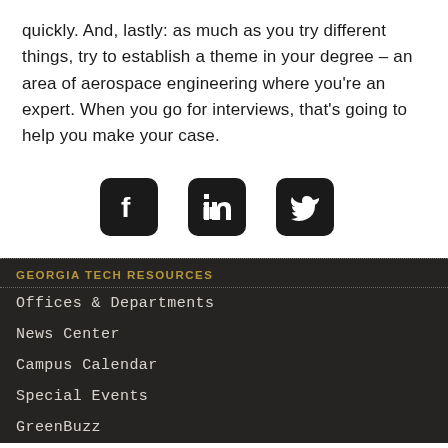quickly. And, lastly: as much as you try different things, try to establish a theme in your degree – an area of aerospace engineering where you're an expert. When you go for interviews, that's going to help you make your case.
[Figure (illustration): Three social media icon buttons: Facebook (f logo), LinkedIn (in logo), Twitter (bird logo), each in a rounded-square black background.]
GEORGIA TECH RESOURCES
Offices & Departments
News Center
Campus Calendar
Special Events
GreenBuzz